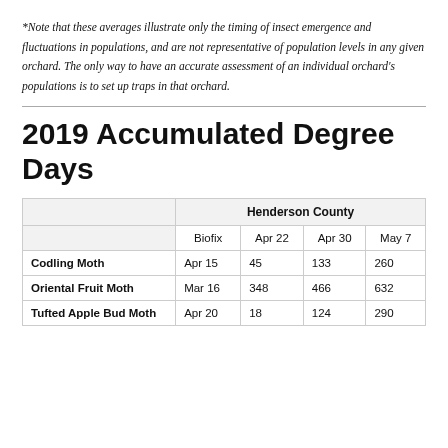*Note that these averages illustrate only the timing of insect emergence and fluctuations in populations, and are not representative of population levels in any given orchard. The only way to have an accurate assessment of an individual orchard's populations is to set up traps in that orchard.
2019 Accumulated Degree Days
|  | Henderson County |  |  |  |
| --- | --- | --- | --- | --- |
| Codling Moth | Apr 15 | 45 | 133 | 260 |
| Oriental Fruit Moth | Mar 16 | 348 | 466 | 632 |
| Tufted Apple Bud Moth | Apr 20 | 18 | 124 | 290 |